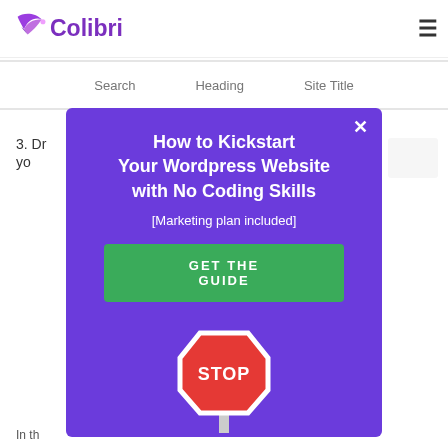[Figure (logo): Colibri logo with hummingbird icon in purple and the word 'Colibri' in purple text]
Search    Heading    Site Title
3. Dr... ...er yo...
[Figure (screenshot): Modal popup with purple background titled 'How to Kickstart Your Wordpress Website with No Coding Skills' with subtitle '[Marketing plan included]', a green 'GET THE GUIDE' button, and a stop sign illustration]
In th...